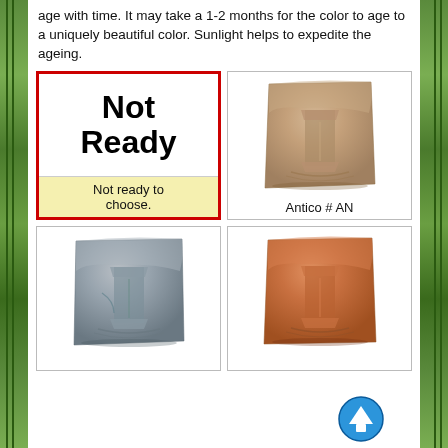age with time. It may take a 1-2 months for the color to age to a uniquely beautiful color. Sunlight helps to expedite the ageing.
[Figure (other): Not Ready placeholder box with red border and yellow label reading 'Not ready to choose.']
[Figure (photo): Stone decorative plaque in Antico finish (tan/beige color) with carved architectural relief]
Antico # AN
[Figure (photo): Stone decorative plaque in grey/verde finish with carved architectural relief]
[Figure (photo): Stone decorative plaque in terracotta/orange finish with carved architectural relief]